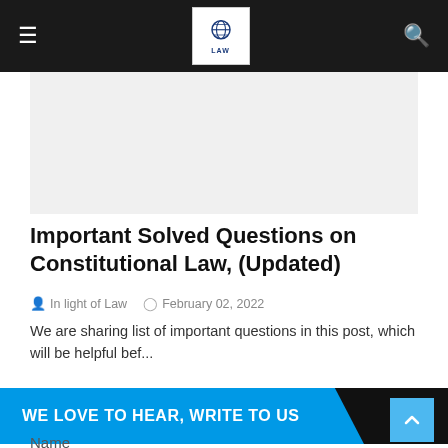In light of Law — Navigation header with logo and search
[Figure (other): Advertisement placeholder area, light gray background]
Important Solved Questions on Constitutional Law, (Updated)
In light of Law   February 02, 2022
We are sharing list of important questions in this post, which will be helpful bef...
WE LOVE TO HEAR, WRITE TO US
Name